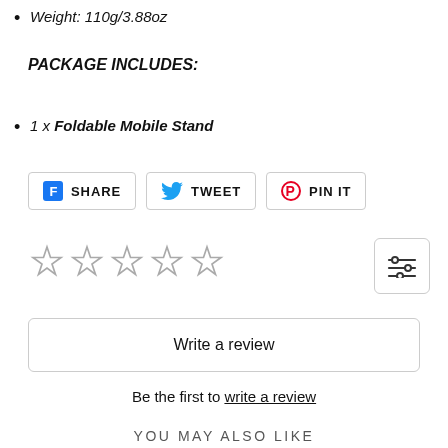Weight: 110g/3.88oz
PACKAGE INCLUDES:
1 x Foldable Mobile Stand
[Figure (other): Social share buttons: Facebook SHARE, Twitter TWEET, Pinterest PIN IT]
[Figure (other): Five empty star rating icons and a filter/sort icon button]
Write a review
Be the first to write a review
YOU MAY ALSO LIKE